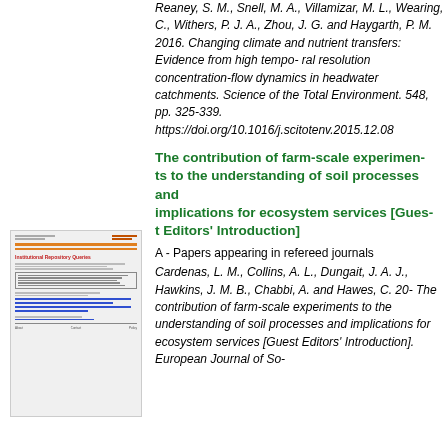Reaney, S. M., Snell, M. A., Villamizar, M. L., Wearing, C., Withers, P. J. A., Zhou, J. G. and Haygarth, P. M. 2016. Changing climate and nutrient transfers: Evidence from high temporal resolution concentration-flow dynamics in headwater catchments. Science of the Total Environment. 548, pp. 325-339. https://doi.org/10.1016/j.scitotenv.2015.12.08
[Figure (screenshot): Thumbnail preview of a document page showing a Research Repository Queries interface with orange header lines, a red title, a boxed text section, blue hyperlink lines, a horizontal rule, and footer text.]
The contribution of farm-scale experiments to the understanding of soil processes and implications for ecosystem services [Guest Editors' Introduction]
A - Papers appearing in refereed journals
Cardenas, L. M., Collins, A. L., Dungait, J. A. J., Hawkins, J. M. B., Chabbi, A. and Hawes, C. 20 The contribution of farm-scale experiments to the understanding of soil processes and implications for ecosystem services [Guest Editors' Introduction]. European Journal of So